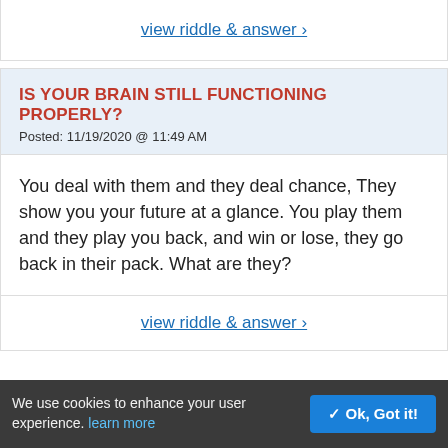view riddle & answer ›
IS YOUR BRAIN STILL FUNCTIONING PROPERLY?
Posted: 11/19/2020 @ 11:49 AM
You deal with them and they deal chance, They show you your future at a glance. You play them and they play you back, and win or lose, they go back in their pack. What are they?
view riddle & answer ›
FEW ARE SMART ENOUGH TO SOLVE THIS PROBLEM!
We use cookies to enhance your user experience. learn more